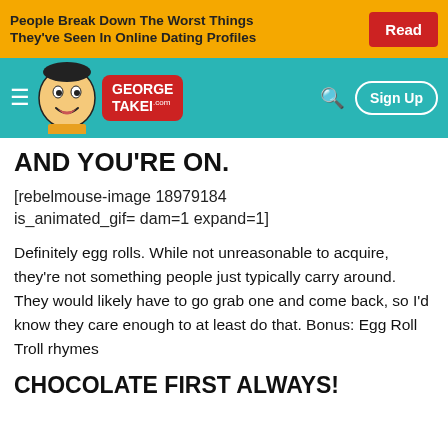[Figure (screenshot): Ad banner with orange background showing text 'People Break Down The Worst Things They've Seen In Online Dating Profiles' and a red 'Read' button]
[Figure (screenshot): GeorgeTakei.com navigation bar with teal background, cartoon avatar, logo in red speech bubble, search icon, and Sign Up button]
AND YOU'RE ON.
[rebelmouse-image 18979184 is_animated_gif= dam=1 expand=1]
Definitely egg rolls. While not unreasonable to acquire, they're not something people just typically carry around. They would likely have to go grab one and come back, so I'd know they care enough to at least do that. Bonus: Egg Roll Troll rhymes
CHOCOLATE FIRST ALWAYS!